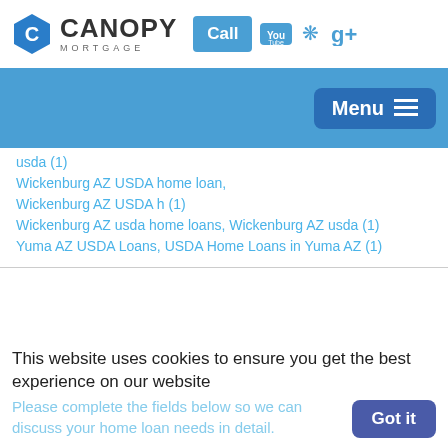[Figure (logo): Canopy Mortgage logo with hexagon C icon, Call button, YouTube, Yelp, and Google+ social icons]
[Figure (screenshot): Blue navigation bar with Menu hamburger button]
usda (1)
Wickenburg AZ USDA home loan, Wickenburg AZ USDA h (1)
Wickenburg AZ usda home loans, Wickenburg AZ usda (1)
Yuma AZ USDA Loans, USDA Home Loans in Yuma AZ (1)
This website uses cookies to ensure you get the best experience on our website
Please complete the fields below so we can discuss your home loan needs in detail.